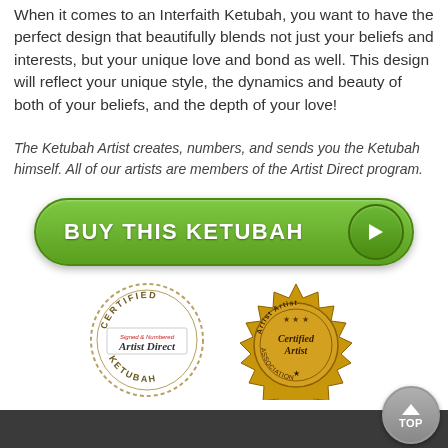When it comes to an Interfaith Ketubah, you want to have the perfect design that beautifully blends not just your beliefs and interests, but your unique love and bond as well. This design will reflect your unique style, the dynamics and beauty of both of your beliefs, and the depth of your love!
The Ketubah Artist creates, numbers, and sends you the Ketubah himself. All of our artists are members of the Artist Direct program.
[Figure (other): Green rounded button with text 'BUY THIS KETUBAH' and a white arrow circle on the right]
[Figure (other): Two certification badges: 'Certified Artist Direct KETUBAH' circular stamp and a gold 'Certified Artist Association' starburst badge]
TOP